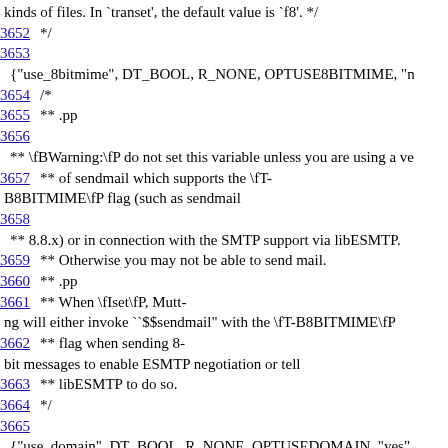kinds of files. In `transet', the default value is `f8'. */
3652    */
3653
{"use_8bitmime", DT_BOOL, R_NONE, OPTUSE8BITMIME, "n
3654    /*
3655    ** .pp
3656
** \fBWarning:\fP do not set this variable unless you are using a ve
3657    ** of sendmail which supports the \fT-B8BITMIME\fP flag (such as sendmail
3658
** 8.8.x) or in connection with the SMTP support via libESMTP.
3659    ** Otherwise you may not be able to send mail.
3660    ** .pp
3661    ** When \fIset\fP, Mutt-ng will either invoke ``$$sendmail'' with the \fT-B8BITMIME\fP
3662    ** flag when sending 8-bit messages to enable ESMTP negotiation or tell
3663    ** libESMTP to do so.
3664    */
3665
{"use_domain", DT_BOOL, R_NONE, OPTUSEDOMAIN, "yes"
3666    /*
3667    ** .pp
3668    ** When \fIset\fP, Mutt-
ng will qualify all local addresses (ones without the